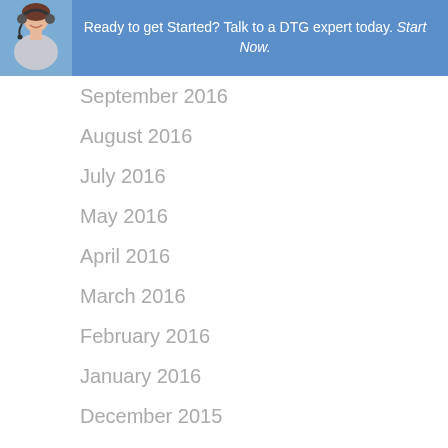[Figure (photo): Banner with a woman wearing a headset and a call-to-action text]
September 2016
August 2016
July 2016
May 2016
April 2016
March 2016
February 2016
January 2016
December 2015
November 2015
March 2015
February 2015